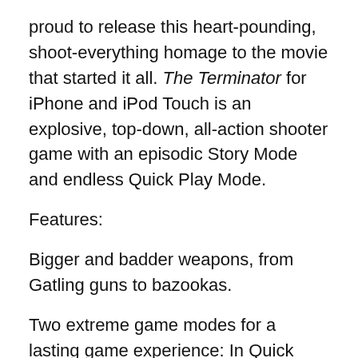proud to release this heart-pounding, shoot-everything homage to the movie that started it all. The Terminator for iPhone and iPod Touch is an explosive, top-down, all-action shooter game with an episodic Story Mode and endless Quick Play Mode.
Features:
Bigger and badder weapons, from Gatling guns to bazookas.
Two extreme game modes for a lasting game experience: In Quick Play Mode, rescue fallen soldiers. In Story Mode, play as Kyle Reese taking on challenging missions.
T-800s and Hunter Killer Tanks from the original movie along with an array of new foes.